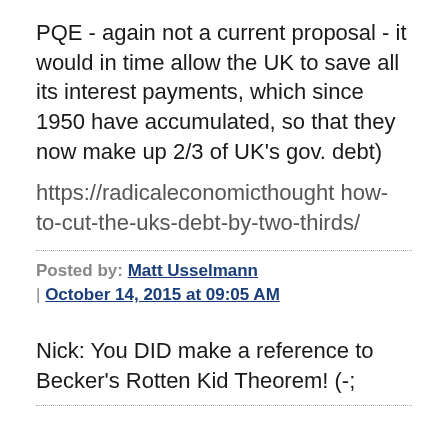PQE - again not a current proposal - it would in time allow the UK to save all its interest payments, which since 1950 have accumulated, so that they now make up 2/3 of UK's gov. debt)
https://radicaleconomicthought how-to-cut-the-uks-debt-by-two-thirds/
Posted by: Matt Usselmann | October 14, 2015 at 09:05 AM
Nick: You DID make a reference to Becker's Rotten Kid Theorem! (-;